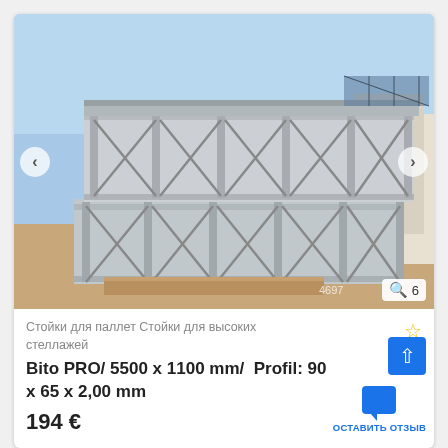[Figure (photo): Outdoor photo of stacked heavy-duty metal pallet racking/shelving uprights with diagonal cross-bracing, galvanized steel, stacked in two tiers, yard/warehouse exterior background. Image number watermark '4697' visible bottom-right. Photo counter badge shows '6'.]
Стойки для паллет Стойки для высоких стеллажей
Bito PRO/ 5500 x 1100 mm/  Profil: 90 x 65 x 2,00 mm
ОСТАВИТЬ ОТЗЫВ
194 €